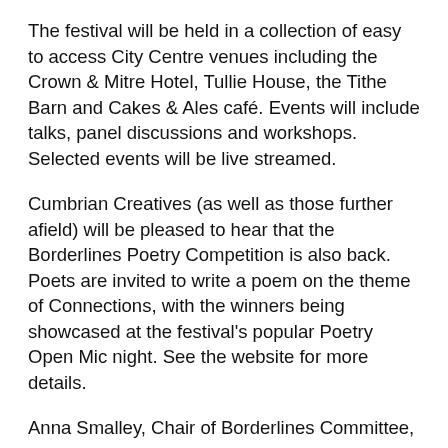The festival will be held in a collection of easy to access City Centre venues including the Crown & Mitre Hotel, Tullie House, the Tithe Barn and Cakes & Ales café. Events will include talks, panel discussions and workshops. Selected events will be live streamed.
Cumbrian Creatives (as well as those further afield) will be pleased to hear that the Borderlines Poetry Competition is also back. Poets are invited to write a poem on the theme of Connections, with the winners being showcased at the festival's popular Poetry Open Mic night. See the website for more details.
Anna Smalley, Chair of Borderlines Committee, comments:
“We are so pleased to be able to run Borderlines again this year – it has been and continues to be challenging to programme and plan the festival during these uncertain times but we feel it’s so important for our community to bring as much